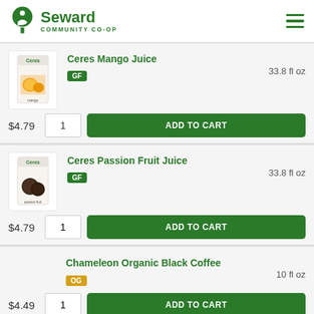Seward Community Co-op
[Figure (illustration): Seward Community Co-op logo with tree icon and hamburger menu]
Ceres Mango Juice | GF | 33.8 fl oz | $4.79
[Figure (photo): Ceres Mango Juice carton with mango fruit image]
Ceres Passion Fruit Juice | GF | 33.8 fl oz | $4.79
[Figure (photo): Ceres Passion Fruit Juice carton with passion fruit image]
Chameleon Organic Black Coffee | OG | 10 fl oz | $4.49